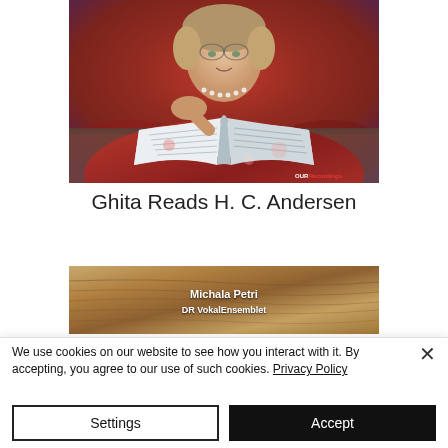[Figure (photo): A woman in a red floral dress leaning on a table with an open book, smiling at the camera. OUR Recordings logo in bottom right.]
Ghita Reads H. C. Andersen
[Figure (photo): An album or product image with a wooden/textured background showing text 'Michala Petri' and 'DR VokalEnsemblet']
We use cookies on our website to see how you interact with it. By accepting, you agree to our use of such cookies. Privacy Policy
Settings
Accept